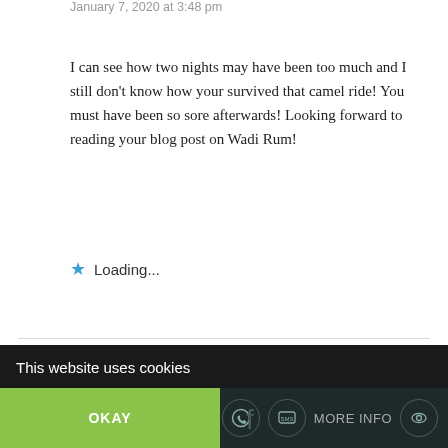January 7, 2020 at 3:48 pm
I can see how two nights may have been too much and I still don't know how your survived that camel ride! You must have been so sore afterwards! Looking forward to reading your blog post on Wadi Rum!
★ Loading...
Pingback: Take a Walk with Me Through Petra: One of Jordan's Most Magical Places – Thirdeyemom
This website uses cookies
OKAY
MORE INFO